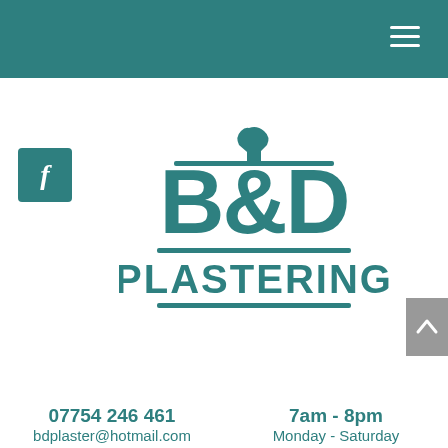[Figure (logo): B&D Plastering logo with trowel icon above text, teal/green color]
07754 246 461
bdplaster@hotmail.com
7am - 8pm
Monday - Saturday